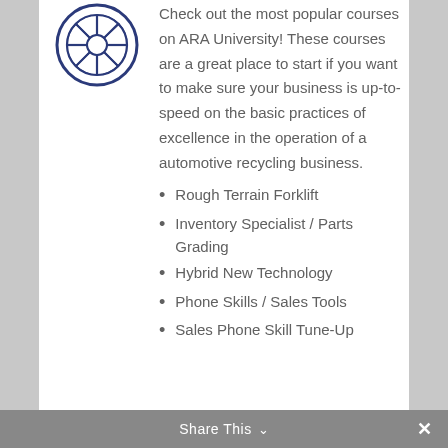[Figure (logo): ARA University circular wheel/tire logo in dark navy blue outline style]
Check out the most popular courses on ARA University! These courses are a great place to start if you want to make sure your business is up-to-speed on the basic practices of excellence in the operation of a automotive recycling business.
Rough Terrain Forklift
Inventory Specialist / Parts Grading
Hybrid New Technology
Phone Skills / Sales Tools
Sales Phone Skill Tune-Up
Share This  ∨  ✕